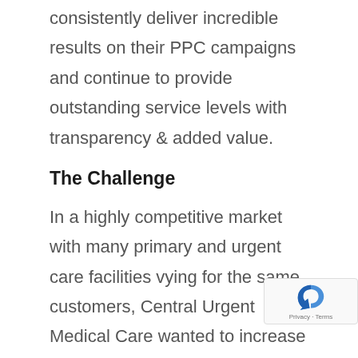consistently deliver incredible results on their PPC campaigns and continue to provide outstanding service levels with transparency & added value.
The Challenge
In a highly competitive market with many primary and urgent care facilities vying for the same customers, Central Urgent Medical Care wanted to increase awareness of their urgent care center, get more phone calls, and increase the volume of walk-ins with a PPC advertising campaign. Having a small budget for advertising,